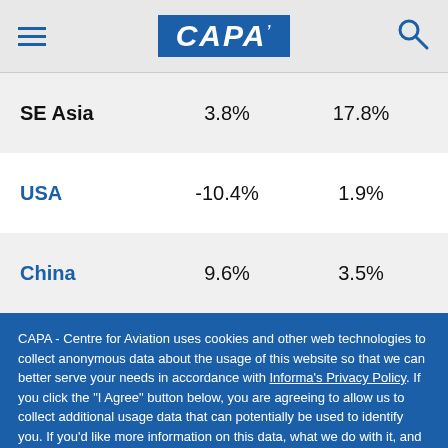CAPA
| Region | Col1 | Col2 |
| --- | --- | --- |
| SE Asia | 3.8% | 17.8% |
| USA | -10.4% | 1.9% |
| China | 9.6% | 3.5% |
CAPA - Centre for Aviation uses cookies and other web technologies to collect anonymous data about the usage of this website so that we can better serve your needs in accordance with Informa's Privacy Policy. If you click the "I Agree" button below, you are agreeing to allow us to collect additional usage data that can potentially be used to identify you. If you'd like more information on this data, what we do with it, and more granular controls, please take a look at our Privacy Settings.